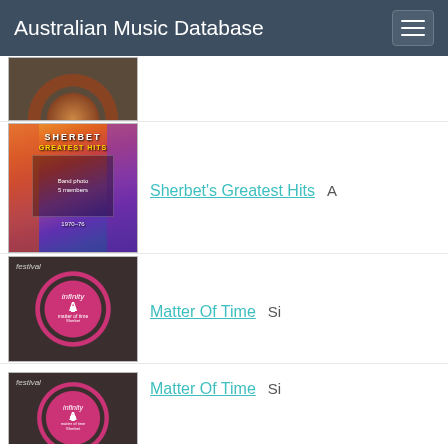Australian Music Database
[Figure (photo): Partial vinyl record at top of list, cropped]
[Figure (photo): Sherbet Greatest Hits album cover - colourful artwork with band members]
Sherbet's Greatest Hits
[Figure (photo): Festival Records vinyl single - Matter Of Time by Sherbet, pink Infinity label, side A]
Matter Of Time
[Figure (photo): Festival Records vinyl single - Matter Of Time by Sherbet, pink Infinity label, side A (second copy)]
Matter Of Time